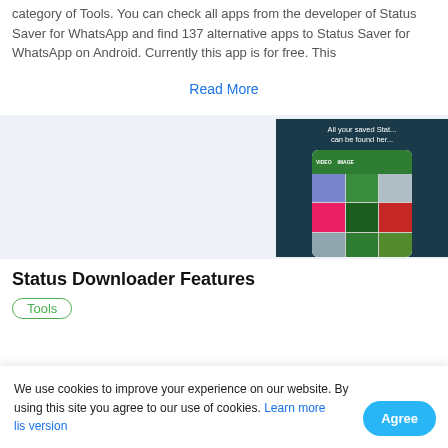category of Tools. You can check all apps from the developer of Status Saver for WhatsApp and find 137 alternative apps to Status Saver for WhatsApp on Android. Currently this app is for free. This
Read More
[Figure (screenshot): Mobile app screenshot showing 'All your saved Status can be found here' with a phone mockup displaying a photo grid of saved statuses]
Status Downloader Features
Tools
We use cookies to improve your experience on our website. By using this site you agree to our use of cookies. Learn more
Agree